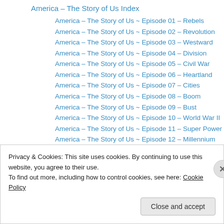America – The Story of Us Index
America – The Story of Us ~ Episode 01 – Rebels
America – The Story of Us ~ Episode 02 – Revolution
America – The Story of Us ~ Episode 03 – Westward
America – The Story of Us ~ Episode 04 – Division
America – The Story of Us ~ Episode 05 – Civil War
America – The Story of Us ~ Episode 06 – Heartland
America – The Story of Us ~ Episode 07 – Cities
America – The Story of Us ~ Episode 08 – Boom
America – The Story of Us ~ Episode 09 – Bust
America – The Story of Us ~ Episode 10 – World War II
America – The Story of Us ~ Episode 11 – Super Power
America – The Story of Us ~ Episode 12 – Millennium
Privacy & Cookies: This site uses cookies. By continuing to use this website, you agree to their use. To find out more, including how to control cookies, see here: Cookie Policy
Close and accept